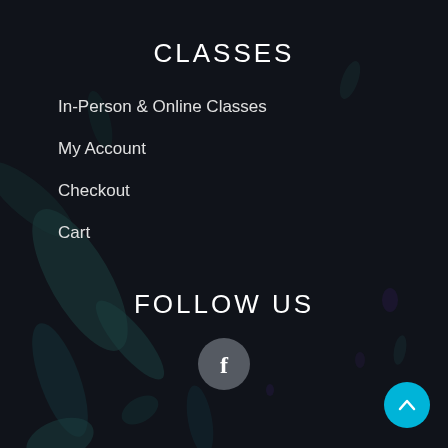CLASSES
In-Person & Online Classes
My Account
Checkout
Cart
FOLLOW US
[Figure (logo): Facebook icon — white 'f' on a dark grey circle]
© 2021 iStation. All Rights Reserved.
Website Design by Your Design Guys